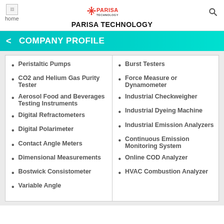PARISA TECHNOLOGY
COMPANY PROFILE
Peristaltic Pumps
CO2 and Helium Gas Purity Tester
Aerosol Food and Beverages Testing Instruments
Digital Refractometers
Digital Polarimeter
Contact Angle Meters
Dimensional Measurements
Bostwick Consistometer
Variable Angle
Burst Testers
Force Measure or Dynamometer
Industrial Checkweigher
Industrial Dyeing Machine
Industrial Emission Analyzers
Continuous Emission Monitoring System
Online COD Analyzer
HVAC Combustion Analyzer